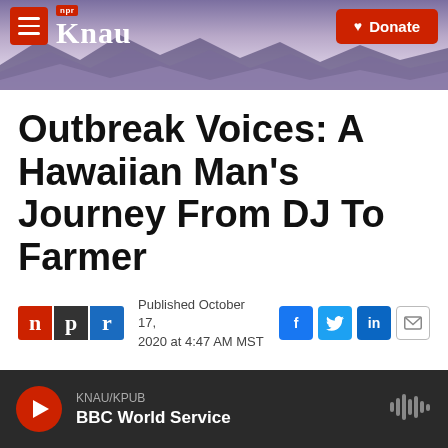KNAU NPR | Donate
Outbreak Voices: A Hawaiian Man's Journey From DJ To Farmer
Published October 17, 2020 at 4:47 AM MST
LISTEN • 4:05
KNAU/KPUB BBC World Service